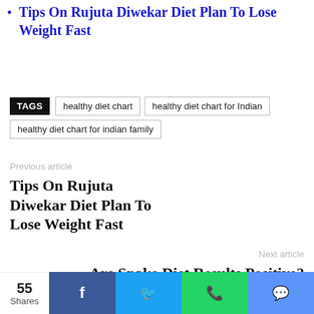Tips On Rujuta Diwekar Diet Plan To Lose Weight Fast
TAGS  healthy diet chart  healthy diet chart for Indian  healthy diet chart for indian family
Previous article
Tips On Rujuta Diwekar Diet Plan To Lose Weight Fast
Next article
Are Snake Diet Results Positive? How does it work?
55 Shares